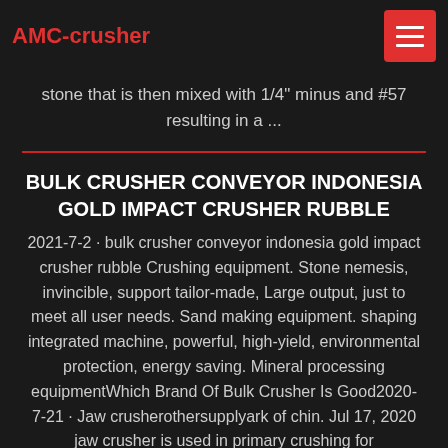AMC-crusher
stone that is then mixed with 1/4" minus and #57 resulting in a ...
BULK CRUSHER CONVEYOR INDONESIA GOLD IMPACT CRUSHER RUBBLE
2021-7-2 · bulk crusher conveyor indonesia gold impact crusher rubble Crushing equipment. Stone nemesis, invincible, support tailor-made, Large output, just to meet all user needs. Sand making equipment. shaping integrated machine, powerful, high-yield, environmental protection, energy saving. Mineral processing equipmentWhich Brand Of Bulk Crusher Is Good2020-7-21 · Jaw crusherothersupplyark of chin. Jul 17, 2020 jaw crusher is used in primary crushing for